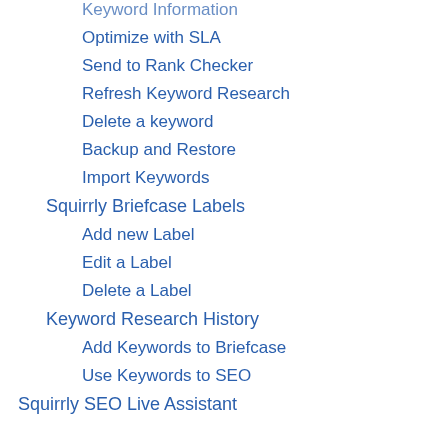Keyword Information
Optimize with SLA
Send to Rank Checker
Refresh Keyword Research
Delete a keyword
Backup and Restore
Import Keywords
Squirrly Briefcase Labels
Add new Label
Edit a Label
Delete a Label
Keyword Research History
Add Keywords to Briefcase
Use Keywords to SEO
Squirrly SEO Live Assistant